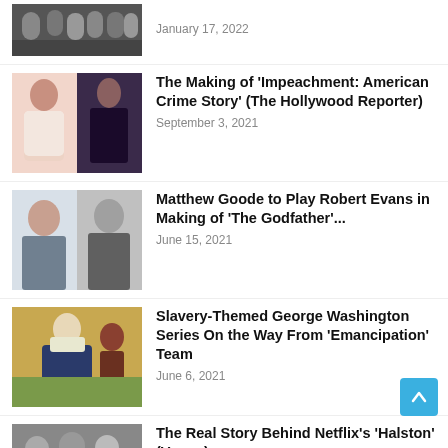[Figure (photo): Group of people photo, partial view at top]
January 17, 2022
[Figure (photo): Two women posing for a photo]
The Making of 'Impeachment: American Crime Story' (The Hollywood Reporter)
September 3, 2021
[Figure (photo): Two men side by side, one modern color photo and one black and white]
Matthew Goode to Play Robert Evans in Making of 'The Godfather'...
June 15, 2021
[Figure (photo): Painting of George Washington with a person]
Slavery-Themed George Washington Series On the Way From 'Emancipation' Team
June 6, 2021
[Figure (photo): Group of people in suits, partial view at bottom]
The Real Story Behind Netflix's 'Halston' (Vogue)